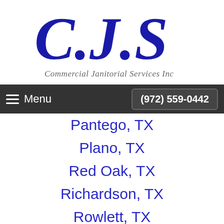[Figure (logo): C.J.S. Commercial Janitorial Services Inc logo with large blue script letters and italic subtitle]
Menu  (972) 559-0442
Pantego, TX
Plano, TX
Red Oak, TX
Richardson, TX
Rowlett, TX
Sachse, TX
Seagoville, TX
Southlake, TX
St Paul, TX
Sunnyvale, TX